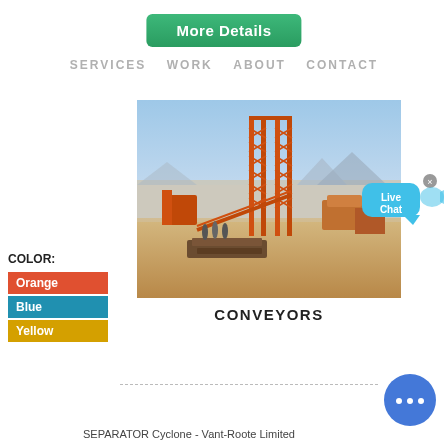More Details
SERVICES   WORK   ABOUT   CONTACT
[Figure (photo): Construction site with tall orange conveyor tower structures, sandy ground, blue sky, mountains in background]
CONVEYORS
COLOR:
Orange
Blue
Yellow
[Figure (infographic): Live Chat speech bubble icon with fish tail decoration and close button]
[Figure (infographic): Blue circle chat button with three dots]
SEPARATOR Cyclone - Vant-Roote Limited